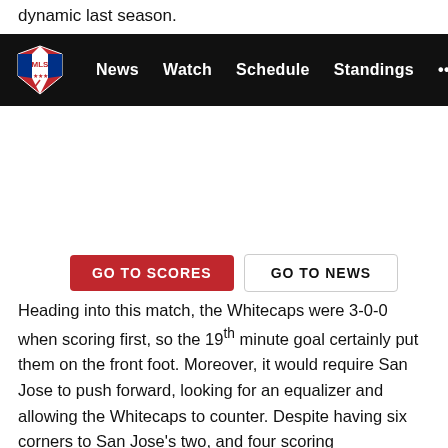dynamic last season.
[Figure (screenshot): MLS website navigation bar with logo and links: News, Watch, Schedule, Standings, and more (...)]
[Figure (other): Two buttons: GO TO SCORES (red) and GO TO NEWS (white/outlined)]
Heading into this match, the Whitecaps were 3-0-0 when scoring first, so the 19th minute goal certainly put them on the front foot. Moreover, it would require San Jose to push forward, looking for an equalizer and allowing the Whitecaps to counter. Despite having six corners to San Jose's two, and four scoring opportunities, Vancouver was unable to carry it into the